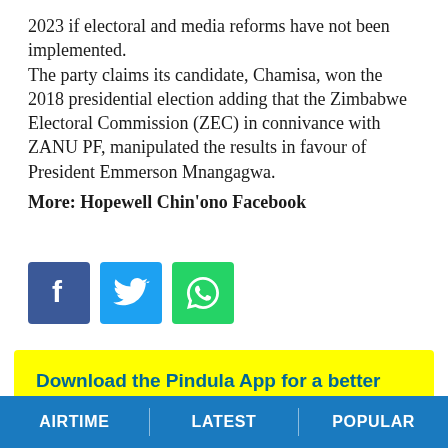2023 if electoral and media reforms have not been implemented.
The party claims its candidate, Chamisa, won the 2018 presidential election adding that the Zimbabwe Electoral Commission (ZEC) in connivance with ZANU PF, manipulated the results in favour of President Emmerson Mnangagwa.
More: Hopewell Chin'ono Facebook
[Figure (other): Three social media share icons: Facebook (blue), Twitter (light blue), WhatsApp (green)]
Download the Pindula App for a better user experience.
AIRTIME | LATEST | POPULAR